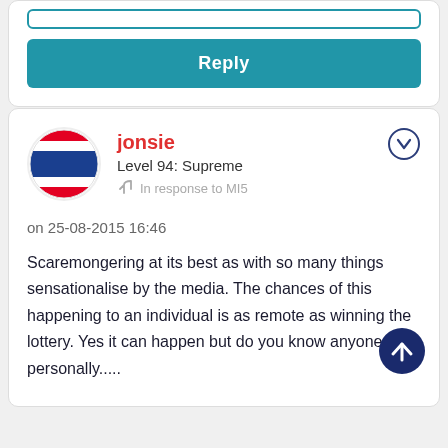[Figure (screenshot): Reply button UI element with input box above it]
[Figure (screenshot): User comment card for jonsie, Level 94: Supreme, in response to MI5, dated 25-08-2015 16:46]
jonsie
Level 94: Supreme
In response to MI5
on 25-08-2015 16:46
Scaremongering at its best as with so many things sensationalise by the media. The chances of this happening to an individual is as remote as winning the lottery. Yes it can happen but do you know anyone personally.....